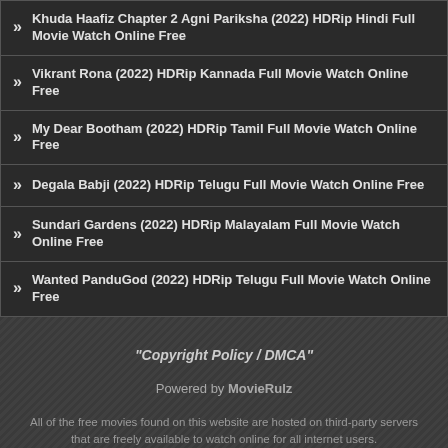Khuda Haafiz Chapter 2 Agni Pariksha (2022) HDRip Hindi Full Movie Watch Online Free
Vikrant Rona (2022) HDRip Kannada Full Movie Watch Online Free
My Dear Bootham (2022) HDRip Tamil Full Movie Watch Online Free
Degala Babji (2022) HDRip Telugu Full Movie Watch Online Free
Sundari Gardens (2022) HDRip Malayalam Full Movie Watch Online Free
Wanted PanduGod (2022) HDRip Telugu Full Movie Watch Online Free
"Copyright Policy / DMCA"
Powered by MovieRulz
All of the free movies found on this website are hosted on third-party servers that are freely available to watch online for all internet users. Any legal issues regarding the free online movies on this website should be taken up with the actual file hosts themselves, as we're not affiliated with them.